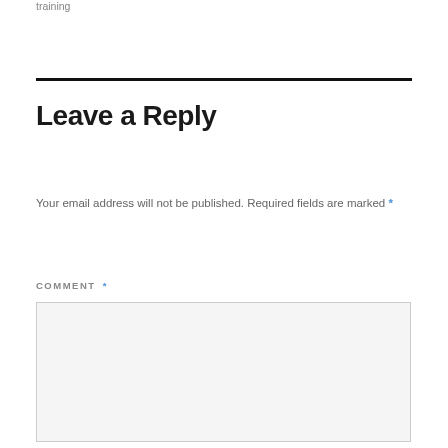training
Leave a Reply
Your email address will not be published. Required fields are marked *
COMMENT *